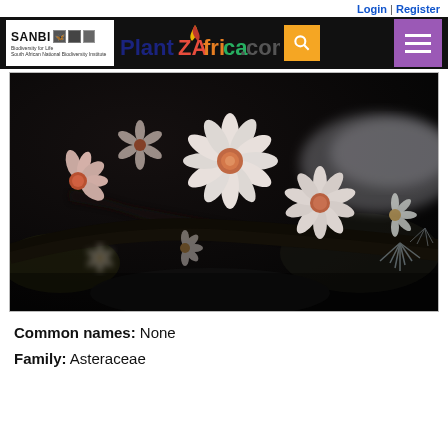Login | Register
[Figure (photo): Close-up photograph of small white and pink flowers with orange-pink centers on dark background, characteristic of a plant in the Asteraceae family]
Common names: None
Family: Asteraceae